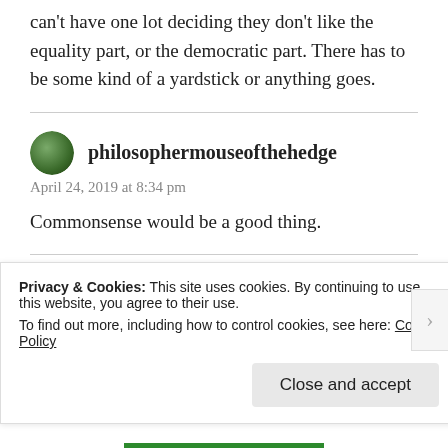can't have one lot deciding they don't like the equality part, or the democratic part. There has to be some kind of a yardstick or anything goes.
philosophermouseofthehedge
April 24, 2019 at 8:34 pm
Commonsense would be a good thing.
Jane Dougherty
Privacy & Cookies: This site uses cookies. By continuing to use this website, you agree to their use.
To find out more, including how to control cookies, see here: Cookie Policy
Close and accept